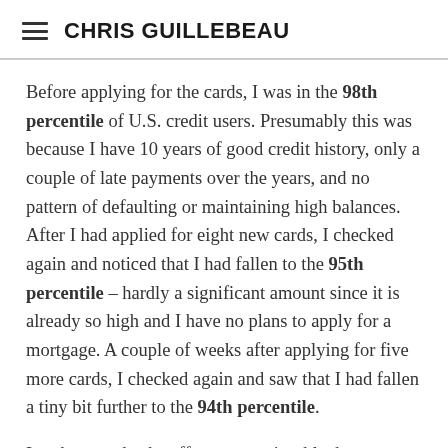CHRIS GUILLEBEAU
Before applying for the cards, I was in the 98th percentile of U.S. credit users. Presumably this was because I have 10 years of good credit history, only a couple of late payments over the years, and no pattern of defaulting or maintaining high balances. After I had applied for eight new cards, I checked again and noticed that I had fallen to the 95th percentile – hardly a significant amount since it is already so high and I have no plans to apply for a mortgage. A couple of weeks after applying for five more cards, I checked again and saw that I had fallen a tiny bit further to the 94th percentile.
In other words, the effect was noticeable, but not seriously damaging. Despite the fact that my credit